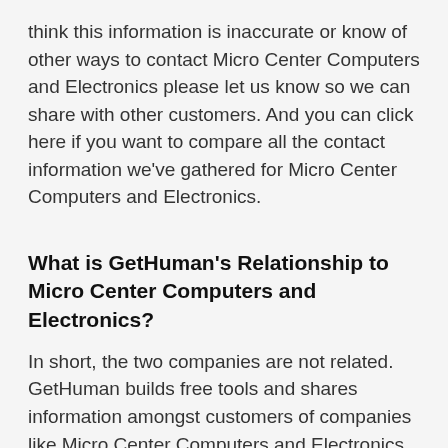think this information is inaccurate or know of other ways to contact Micro Center Computers and Electronics please let us know so we can share with other customers. And you can click here if you want to compare all the contact information we've gathered for Micro Center Computers and Electronics.
What is GetHuman's Relationship to Micro Center Computers and Electronics?
In short, the two companies are not related. GetHuman builds free tools and shares information amongst customers of companies like Micro Center Computers and Electronics. For large companies that includes tools such as our GetHuman Phone, which